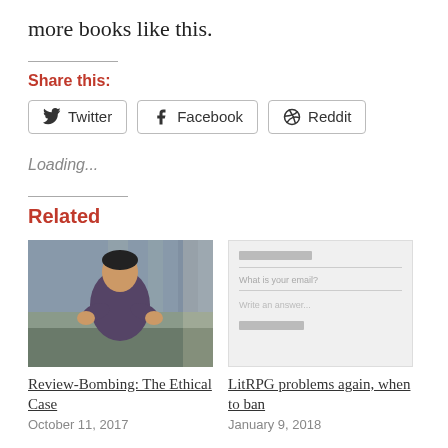more books like this.
Share this:
Twitter  Facebook  Reddit
Loading...
Related
[Figure (photo): A man sitting on a couch, appearing to clap or gesture with his hands, in an indoor setting.]
Review-Bombing: The Ethical Case
October 11, 2017
[Figure (screenshot): A blurred form/widget with email input fields and placeholder text saying 'What is your email?' and 'Write an answer...']
LitRPG problems again, when to ban
January 9, 2018